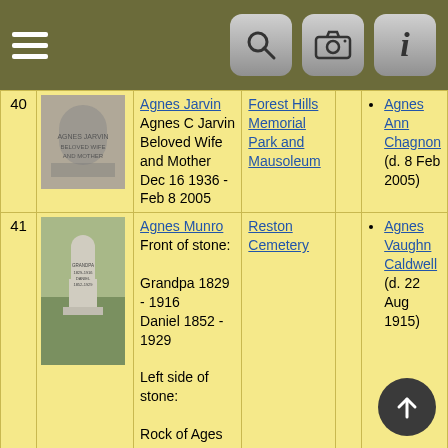Navigation bar with hamburger menu, search, camera, and info icons
| # | Photo | Name / Inscription | Cemetery |  | Related |
| --- | --- | --- | --- | --- | --- |
| 40 | [photo] | Agnes Jarvin
Agnes C Jarvin
Beloved Wife and Mother
Dec 16 1936 - Feb 8 2005 | Forest Hills Memorial Park and Mausoleum |  | Agnes Ann Chagnon (d. 8 Feb 2005) |
| 41 | [photo] | Agnes Munro
Front of stone:

Grandpa 1829 - 1916
Daniel 1852 - 1929

Left side of stone:

Rock of Ages

In Memory of Agnes Caldwell Beloved Wife | Reston Cemetery |  | Agnes Vaughn Caldwell (d. 22 Aug 1915) |